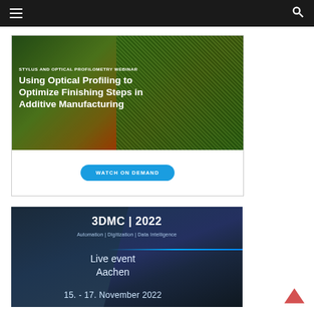[Figure (screenshot): Website navigation bar with hamburger menu icon on left and search icon on right, dark background with red accent bar at top]
[Figure (infographic): Webinar advertisement banner: 'STYLUS AND OPTICAL PROFILOMETRY WEBINAR — Using Optical Profiling to Optimize Finishing Steps in Additive Manufacturing' with green textured background image and 'WATCH ON DEMAND' button]
[Figure (infographic): 3DMC 2022 event advertisement: 'Automation | Digitization | Data Intelligence, Live event Aachen, 15. - 17. November 2022' on dark blue architectural background]